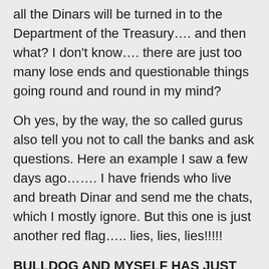all the Dinars will be turned in to the Department of the Treasury…. and then what? I don't know…. there are just too many lose ends and questionable things going round and round in my mind?
Oh yes, by the way, the so called gurus also tell you not to call the banks and ask questions. Here an example I saw a few days ago……. I have friends who live and breath Dinar and send me the chats, which I mostly ignore. But this one is just another red flag….. lies, lies, lies!!!!!
BULLDOG AND MYSELF HAS JUST RECEIVED A REQUEST (VERY STRONGLY WORDED)